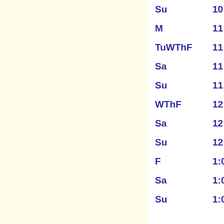| Day | Time |
| --- | --- |
| Su | 10:00a-11... |
| M | 11:00a- 1... |
| TuWThF | 11:00a-12... |
| Sa | 11:00a-12... |
| Su | 11:00a-12... |
| WThF | 12:00n- 1... |
| Sa | 12:00n- 1... |
| Su | 12:00n- 1... |
| F | 1:00p- 2... |
| Sa | 1:00p- 2... |
| Su | 1:00p- 2... |